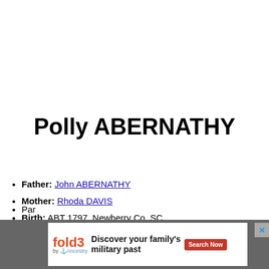Polly ABERNATHY
Father: John ABERNATHY
Mother: Rhoda DAVIS
Birth: ABT 1797, Newberry Co, SC
Par...